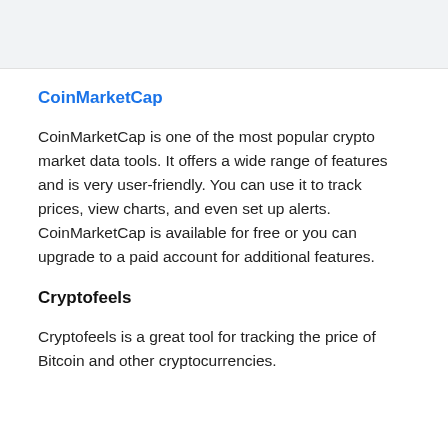CoinMarketCap
CoinMarketCap is one of the most popular crypto market data tools. It offers a wide range of features and is very user-friendly. You can use it to track prices, view charts, and even set up alerts. CoinMarketCap is available for free or you can upgrade to a paid account for additional features.
Cryptofeels
Cryptofeels is a great tool for tracking the price of Bitcoin and other cryptocurrencies.